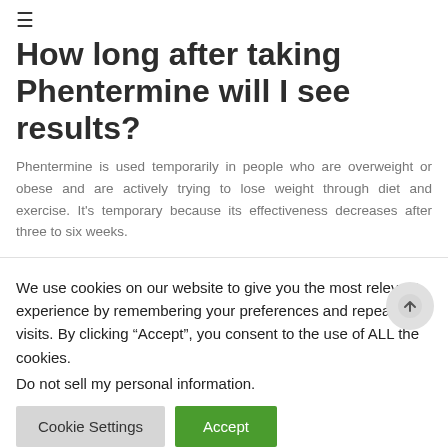≡
How long after taking Phentermine will I see results?
Phentermine is used temporarily in people who are overweight or obese and are actively trying to lose weight through diet and exercise. It's temporary because its effectiveness decreases after three to six weeks.
We use cookies on our website to give you the most relevant experience by remembering your preferences and repeat visits. By clicking "Accept", you consent to the use of ALL the cookies.
Do not sell my personal information.